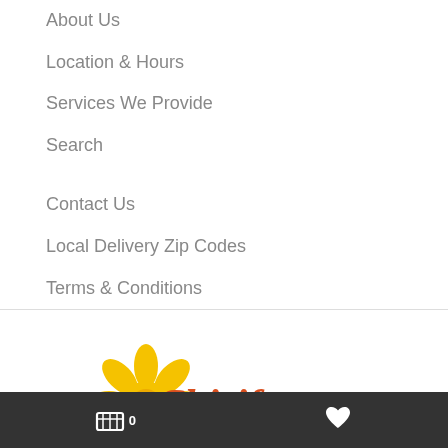About Us
Location & Hours
Services We Provide
Search
Contact Us
Local Delivery Zip Codes
Terms & Conditions
[Figure (logo): Chirife Floral Design logo with sunflower graphic and orange/red Chirife text]
Shopping cart (0) | Favorites